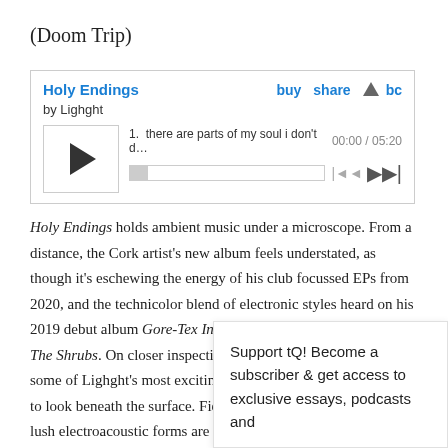(Doom Trip)
[Figure (screenshot): Bandcamp embedded music player for 'Holy Endings' by Lighght, showing track 1: 'there are parts of my soul i don't d…', time 00:00 / 05:20, with play button, progress bar, and navigation controls.]
Holy Endings holds ambient music under a microscope. From a distance, the Cork artist's new album feels understated, as though it's eschewing the energy of his club focussed EPs from 2020, and the technicolor blend of electronic styles heard on his 2019 debut album Gore-Tex In The Club, Balenciaga Amongst The Shrubs. On closer inspection though, these six tracks offer some of Lighght's most exciting music to date – you just need to look beneath the surface. Field recordings, found sounds and lush electroacoustic forms are w… intricate det…
Support tQ! Become a subscriber & get access to exclusive essays, podcasts and